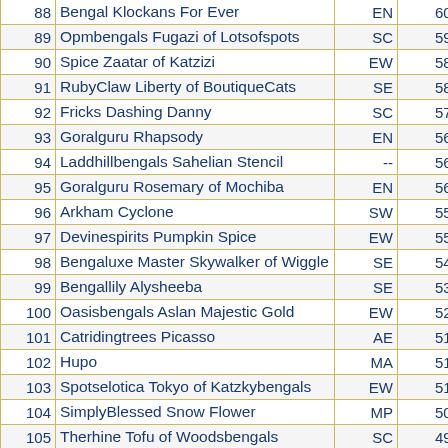| # | Name | Region | Score |
| --- | --- | --- | --- |
| 88 | Bengal Klockans For Ever | EN | 602 |
| 89 | Opmbengals Fugazi of Lotsofspots | SC | 598 |
| 90 | Spice Zaatar of Katzizi | EW | 585 |
| 91 | RubyClaw Liberty of BoutiqueCats | SE | 582 |
| 92 | Fricks Dashing Danny | SC | 571 |
| 93 | Goralguru Rhapsody | EN | 567 |
| 94 | Laddhillbengals Sahelian Stencil | -- | 563 |
| 95 | Goralguru Rosemary of Mochiba | EN | 562 |
| 96 | Arkham Cyclone | SW | 559 |
| 97 | Devinespirits Pumpkin Spice | EW | 556 |
| 98 | Bengaluxe Master Skywalker of Wiggle | SE | 540 |
| 99 | Bengallily Alysheeba | SE | 535 |
| 100 | Oasisbengals Aslan Majestic Gold | EW | 528 |
| 101 | Catridingtrees Picasso | AE | 516 |
| 102 | Hupo | MA | 513 |
| 103 | Spotselotica Tokyo of Katzkybengals | EW | 510 |
| 104 | SimplyBlessed Snow Flower | MP | 507 |
| 105 | Therhine Tofu of Woodsbengals | SC | 492 |
| 106 | Coolspots Mahjong | MP | 487 |
| 107 | Minileo Idrol | MA | 480 |